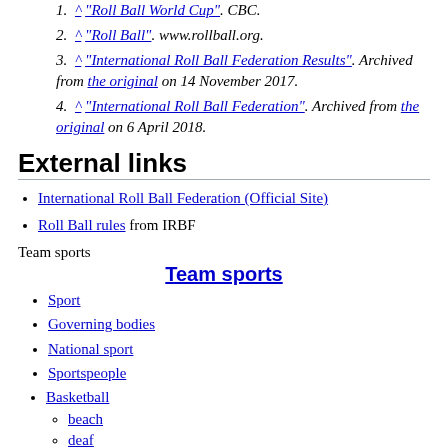^ "Roll Ball World Cup". CBC.
^ "Roll Ball". www.rollball.org.
^ "International Roll Ball Federation Results". Archived from the original on 14 November 2017.
^ "International Roll Ball Federation". Archived from the original on 6 April 2018.
External links
International Roll Ball Federation (Official Site)
Roll Ball rules from IRBF
Team sports
Team sports
Sport
Governing bodies
National sport
Sportspeople
Basketball
beach
deaf